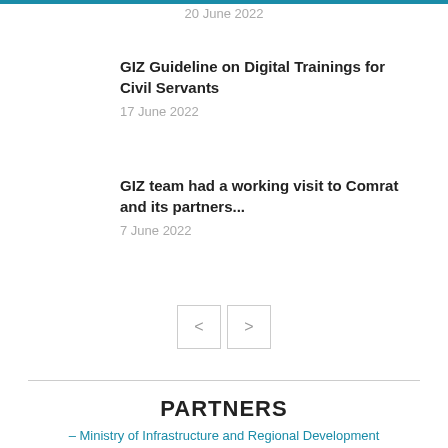20 June 2022
GIZ Guideline on Digital Trainings for Civil Servants
17 June 2022
GIZ team had a working visit to Comrat and its partners...
7 June 2022
PARTNERS
– Ministry of Infrastructure and Regional Development